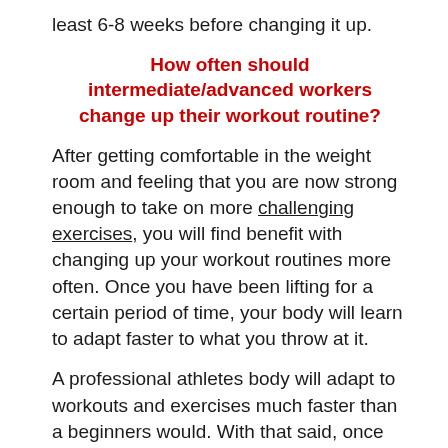least 6-8 weeks before changing it up.
How often should intermediate/advanced workers change up their workout routine?
After getting comfortable in the weight room and feeling that you are now strong enough to take on more challenging exercises, you will find benefit with changing up your workout routines more often. Once you have been lifting for a certain period of time, your body will learn to adapt faster to what you throw at it.
A professional athletes body will adapt to workouts and exercises much faster than a beginners would. With that said, once you feel you have reached the level that is past being a beginner, you can then start changing your workout routines every 3-6 weeks. More advanced